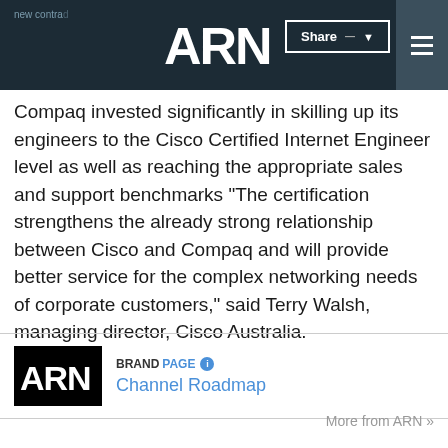ARN | new contra... | Share | Menu
Compaq invested significantly in skilling up its engineers to the Cisco Certified Internet Engineer level as well as reaching the appropriate sales and support benchmarks "The certification strengthens the already strong relationship between Cisco and Compaq and will provide better service for the complex networking needs of corporate customers," said Terry Walsh, managing director, Cisco Australia.
[Figure (logo): ARN logo in black box with BRANDPAGE label and Channel Roadmap link]
More from ARN »